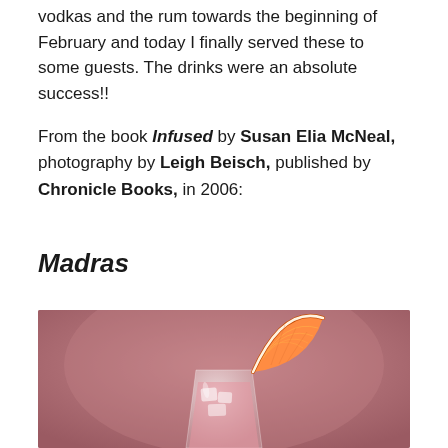vodkas and the rum towards the beginning of February and today I finally served these to some guests. The drinks were an absolute success!!
From the book Infused by Susan Elia McNeal, photography by Leigh Beisch, published by Chronicle Books, in 2006:
Madras
[Figure (photo): A cocktail glass with ice and a pink/red drink, garnished with an orange slice wedge on the rim, set against a muted pink-mauve background.]